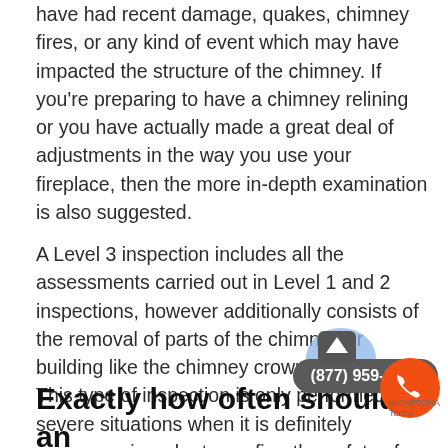have had recent damage, quakes, chimney fires, or any kind of event which may have impacted the structure of the chimney. If you're preparing to have a chimney relining or you have actually made a great deal of adjustments in the way you use your fireplace, then the more in-depth examination is also suggested.
A Level 3 inspection includes all the assessments carried out in Level 1 and 2 inspections, however additionally consists of the removal of parts of the chimney or building like the chimney crown or masonry. This type of inspection is only performed in severe situations when it is definitely necessary in order to confirm the safety of the chimney.
Exactly how often should an inspection be done?